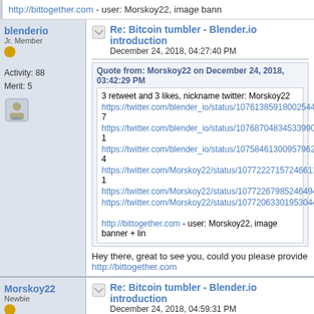http://bittogether.com - user: Morskoy22, image bann...
blenderio
Jr. Member
Activity: 88
Merit: 5
Re: Bitcoin tumbler - Blender.io introduction
December 24, 2018, 04:27:40 PM
Quote from: Morskoy22 on December 24, 2018, 03:42:29 PM
3 retweet and 3 likes, nickname twitter: Morskoy22
https://twitter.com/blender_io/status/10761385918002544... https://twitter.com/blender_io/status/10768704834533990... https://twitter.com/blender_io/status/10758461300957962... https://twitter.com/Morskoy22/status/10772227157246611... https://twitter.com/Morskoy22/status/10772267985246494... https://twitter.com/Morskoy22/status/10772063301953044...
http://bittogether.com - user: Morskoy22, image banner + li...
Hey there, great to see you, could you please provide...
http://bittogether.com
Morskoy22
Newbie
Activity: 8
Merit: 0
Re: Bitcoin tumbler - Blender.io introduction
December 24, 2018, 04:59:31 PM
Quote from: blenderio on December 24, 2018, 04:27:40 PM
Quote from: Morskoy22 on December 24, 2018, 03:42:29 PM
3 retweet and 3 likes, nickname twitter: Morskoy22
https://twitter.com/blender_io/status/10761385918002544...